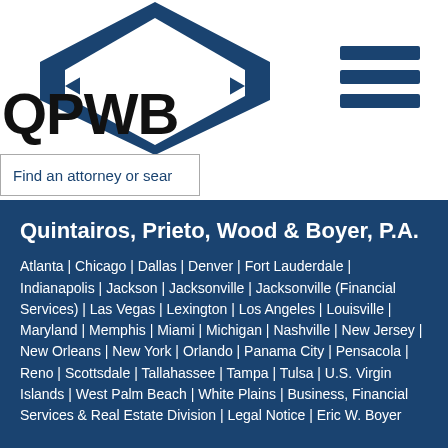[Figure (logo): QPWB logo with blue diamond/chevron shape above the text QPWB]
[Figure (other): Hamburger menu icon with three horizontal blue bars]
Find an attorney or sear
Quintairos, Prieto, Wood & Boyer, P.A.
Atlanta | Chicago | Dallas | Denver | Fort Lauderdale | Indianapolis | Jackson | Jacksonville | Jacksonville (Financial Services) | Las Vegas | Lexington | Los Angeles | Louisville | Maryland | Memphis | Miami | Michigan | Nashville | New Jersey | New Orleans | New York | Orlando | Panama City | Pensacola | Reno | Scottsdale | Tallahassee | Tampa | Tulsa | U.S. Virgin Islands | West Palm Beach | White Plains | Business, Financial Services & Real Estate Division | Legal Notice | Eric W. Boyer